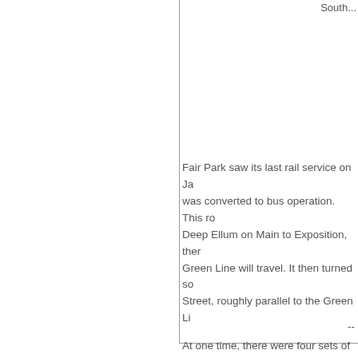South...
Fair Park saw its last rail service on Ja... was converted to bus operation. This ro... Deep Ellum on Main to Exposition, ther... Green Line will travel. It then turned so... Street, roughly parallel to the Green Li...
At one time, there were four sets of trac... DART Fair Park Station is located, and ... Fair and for the Cotton Bowl.
Film courtesy of Johnnie J. Myers. (Not...
--